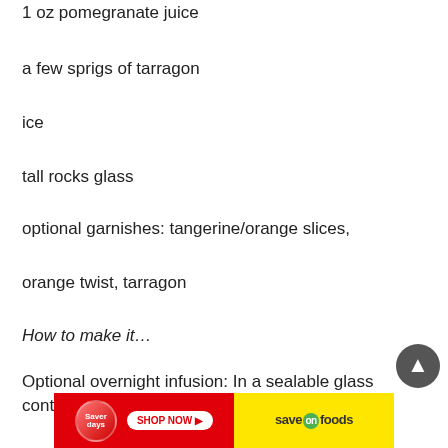1 oz pomegranate juice
a few sprigs of tarragon
ice
tall rocks glass
optional garnishes: tangerine/orange slices,
orange twist, tarragon
How to make it…
Optional overnight infusion: In a sealable glass container, or
[Figure (other): Saver Days advertisement banner for Save On Foods with red left section showing 'Saver days' text and 'SHOP NOW' button, and yellow right section with 'save on foods' logo]